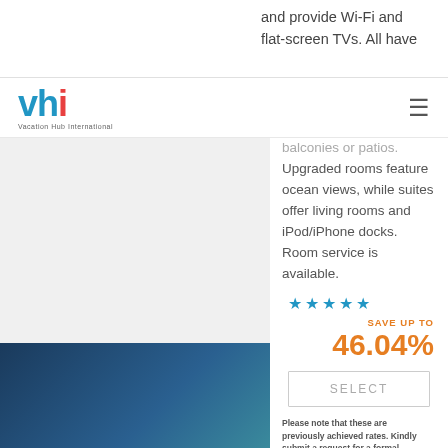and provide Wi-Fi and flat-screen TVs. All have
[Figure (logo): VHI - Vacation Hub International logo in blue with red dot on i]
balconies or patios. Upgraded rooms feature ocean views, while suites offer living rooms and iPod/iPhone docks. Room service is available.
[Figure (other): 5 teal/blue star rating icons]
SAVE UP TO
46.04%
SELECT
Please note that these are previously achieved rates. Kindly submit a request for a formal quotation and current rates..
[Figure (photo): Bottom blue/dark hotel or travel image strip]